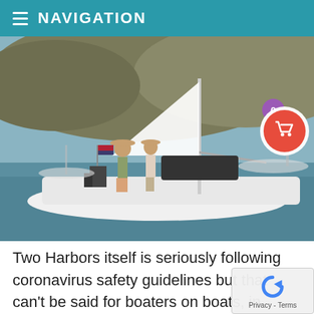NAVIGATION
[Figure (photo): Two people standing on the deck of a white sailboat moored in a harbor with hills in the background. A shopping cart icon with a badge showing '0' is overlaid in the upper right.]
Two Harbors itself is seriously following coronavirus safety guidelines but that can't be said for boaters on boats, in our observation. Anyone coming ashore must wear a mask, and social distancing is recommended on